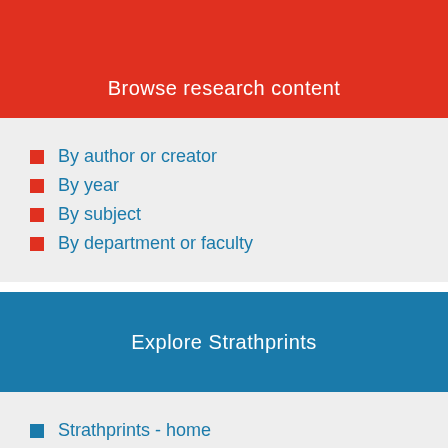Browse research content
By author or creator
By year
By subject
By department or faculty
Explore Strathprints
Strathprints - home